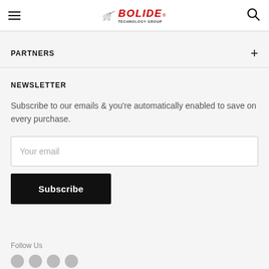BOLIDE TECHNOLOGY GROUP
PARTNERS
NEWSLETTER
Subscribe to our emails & you're automatically enabled to save on every purchase.
Your email
Subscribe
Follow Us